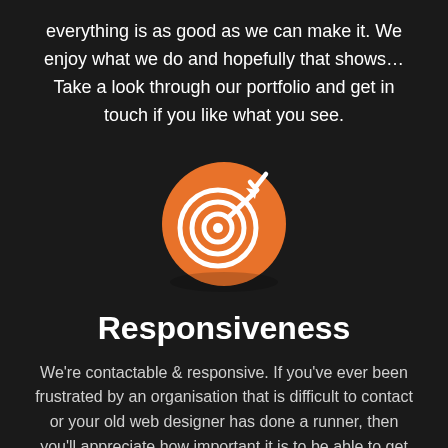everything is as good as we can make it. We enjoy what we do and hopefully that shows…Take a look through our portfolio and get in touch if you like what you see.
[Figure (illustration): Orange circular icon with a white target/bullseye and an arrow hitting the center, with a checkmark element on the arrow.]
Responsiveness
We're contactable & responsive. If you've ever been frustrated by an organisation that is difficult to contact or your old web designer has done a runner, then you'll appreciate how important it is to be able to get something done quickly and